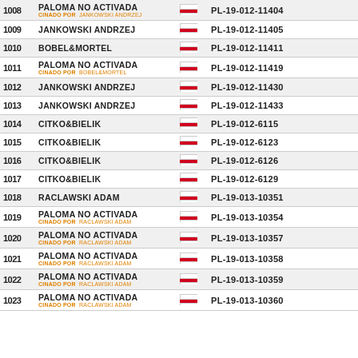| # | Owner |  | Ring ID |
| --- | --- | --- | --- |
| 1008 | PALOMA NO ACTIVADA
CINADO POR: JANKOWSKI ANDRZEJ |  | PL-19-012-11404 |
| 1009 | JANKOWSKI ANDRZEJ |  | PL-19-012-11405 |
| 1010 | BOBEL&MORTEL |  | PL-19-012-11411 |
| 1011 | PALOMA NO ACTIVADA
CINADO POR: BOBEL&MORTEL |  | PL-19-012-11419 |
| 1012 | JANKOWSKI ANDRZEJ |  | PL-19-012-11430 |
| 1013 | JANKOWSKI ANDRZEJ |  | PL-19-012-11433 |
| 1014 | CITKO&BIELIK |  | PL-19-012-6115 |
| 1015 | CITKO&BIELIK |  | PL-19-012-6123 |
| 1016 | CITKO&BIELIK |  | PL-19-012-6126 |
| 1017 | CITKO&BIELIK |  | PL-19-012-6129 |
| 1018 | RACLAWSKI ADAM |  | PL-19-013-10351 |
| 1019 | PALOMA NO ACTIVADA
CINADO POR: RACLAWSKI ADAM |  | PL-19-013-10354 |
| 1020 | PALOMA NO ACTIVADA
CINADO POR: RACLAWSKI ADAM |  | PL-19-013-10357 |
| 1021 | PALOMA NO ACTIVADA
CINADO POR: RACLAWSKI ADAM |  | PL-19-013-10358 |
| 1022 | PALOMA NO ACTIVADA
CINADO POR: RACLAWSKI ADAM |  | PL-19-013-10359 |
| 1023 | PALOMA NO ACTIVADA
CINADO POR: RACLAWSKI ADAM |  | PL-19-013-10360 |